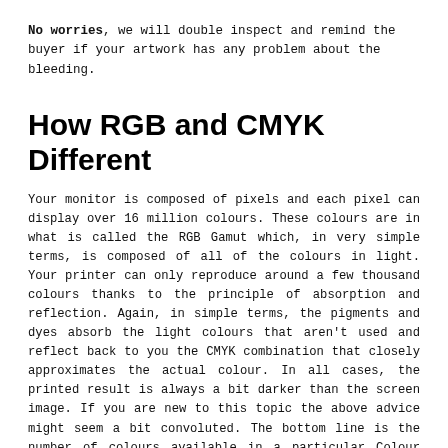No worries, we will double inspect and remind the buyer if your artwork has any problem about the bleeding.
How RGB and CMYK Different
Your monitor is composed of pixels and each pixel can display over 16 million colours. These colours are in what is called the RGB Gamut which, in very simple terms, is composed of all of the colours in light. Your printer can only reproduce around a few thousand colours thanks to the principle of absorption and reflection. Again, in simple terms, the pigments and dyes absorb the light colours that aren't used and reflect back to you the CMYK combination that closely approximates the actual colour. In all cases, the printed result is always a bit darker than the screen image. If you are new to this topic the above advice might seem a bit convoluted. The bottom line is the number of colours available in a particular Colour Space. Colour printers such as the Inkjet printer in your office have Cyan, Magenta, Yellow and Black cartridges. These are the traditional printing inks and the colour is made by combining those four colours. With ink, the number of colours that can be produced fall, roughly, into a maximum of a couple thousand